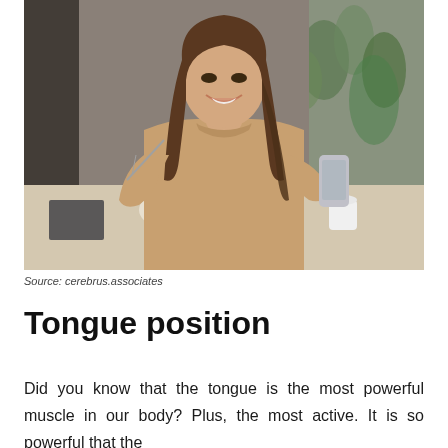[Figure (photo): A young woman with long brown hair smiling, eating a salad with a fork in one hand and holding a smartphone in the other, sitting near a window with plants in the background. She is wearing a tan turtleneck sweater.]
Source: cerebrus.associates
Tongue position
Did you know that the tongue is the most powerful muscle in our body? Plus, the most active. It is so powerful that the